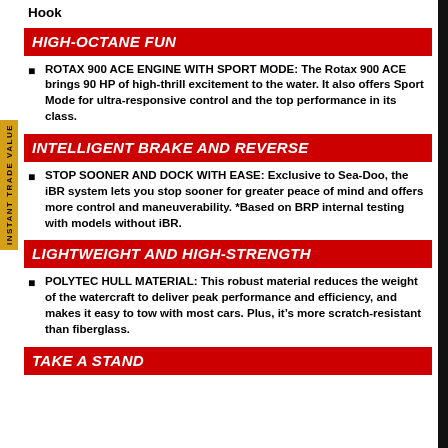Hook
HIGH-OCTANE FUN
ROTAX 900 ACE ENGINE WITH SPORT MODE: The Rotax 900 ACE brings 90 HP of high-thrill excitement to the water. It also offers Sport Mode for ultra-responsive control and the top performance in its class.
INTELLIGENT BRAKE AND REVERSE
STOP SOONER AND DOCK WITH EASE: Exclusive to Sea-Doo, the iBR system lets you stop sooner for greater peace of mind and offers more control and maneuverability. *Based on BRP internal testing with models without iBR.
LIGHTWEIGHT AND HIGH-STRENGTH
POLYTEC HULL MATERIAL: This robust material reduces the weight of the watercraft to deliver peak performance and efficiency, and makes it easy to tow with most cars. Plus, it’s more scratch-resistant than fiberglass.
TAKE A STAND